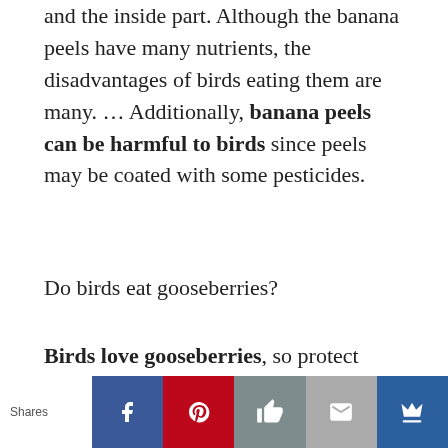and the inside part. Although the banana peels have many nutrients, the disadvantages of birds eating them are many. … Additionally, banana peels can be harmful to birds since peels may be coated with some pesticides.
Do birds eat gooseberries?
Birds love gooseberries, so protect ripening fruits with fine-gauge netting. In June, when the fruits are still green and under-ripe, pick every other fruit and use for making jam, pies,
[Figure (infographic): Social sharing bar with Shares label and five icon buttons: Facebook (blue), Pinterest (red), Like/thumbs-up (gray), Email (light gray), and a crown icon (dark blue)]